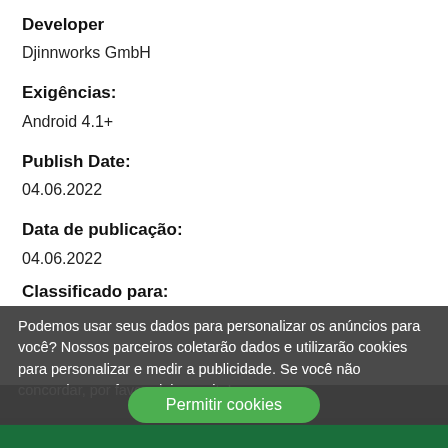Developer
Djinnworks GmbH
Exigências:
Android 4.1+
Publish Date:
04.06.2022
Data de publicação:
04.06.2022
Classificado para:
Podemos usar seus dados para personalizar os anúncios para você? Nossos parceiros coletarão dados e utilizarão cookies para personalizar e medir a publicidade. Se você não concordar, por favor, deixe o site!
Permitir cookies